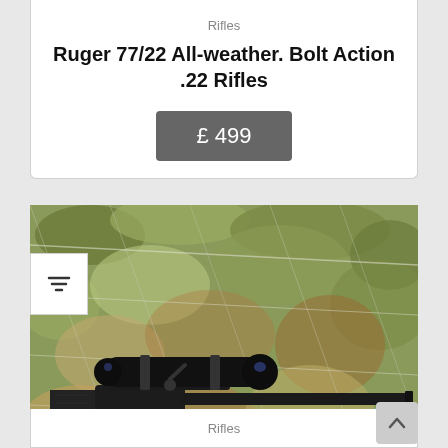Rifles
Ruger 77/22 All-weather. Bolt Action .22 Rifles
£ 499
[Figure (photo): Bolt action rifle with scope resting on camouflage netting with leaves, viewed from above. The rifle has a black synthetic stock and barrel with a telescopic scope mounted on top.]
Rifles